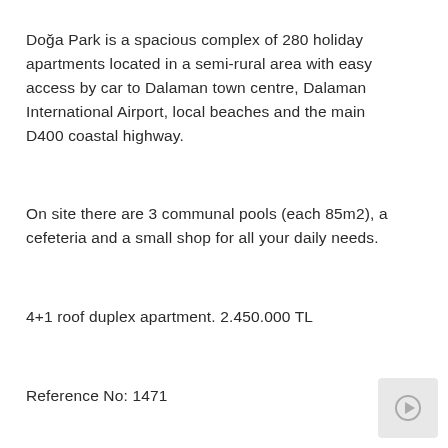Doğa Park is a spacious complex of 280 holiday apartments located in a semi-rural area with easy access by car to Dalaman town centre, Dalaman International Airport, local beaches and the main D400 coastal highway.
On site there are 3 communal pools (each 85m2), a cefeteria and a small shop for all your daily needs.
4+1 roof duplex apartment. 2.450.000 TL
Reference No: 1471